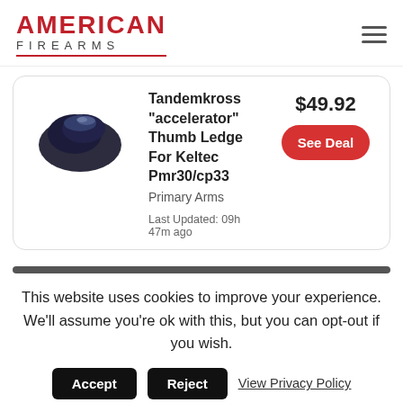AMERICAN FIREARMS
[Figure (photo): Black thumb ledge accessory for Keltec PMR30/CP33 pistol, photographed against white background]
Tandemkross "accelerator" Thumb Ledge For Keltec Pmr30/cp33
Primary Arms
$49.92
Last Updated: 09h 47m ago
This website uses cookies to improve your experience. We'll assume you're ok with this, but you can opt-out if you wish.
Accept  Reject  View Privacy Policy